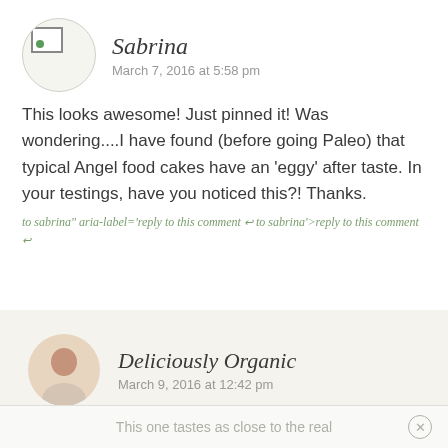Sabrina
March 7, 2016 at 5:58 pm
This looks awesome! Just pinned it! Was wondering....I have found (before going Paleo) that typical Angel food cakes have an 'eggy' after taste. In your testings, have you noticed this?! Thanks.
to sabrina" aria-label='reply to this comment ↩ to sabrina'>reply to this comment ↩
Deliciously Organic
March 9, 2016 at 12:42 pm
This one tastes as close to the real